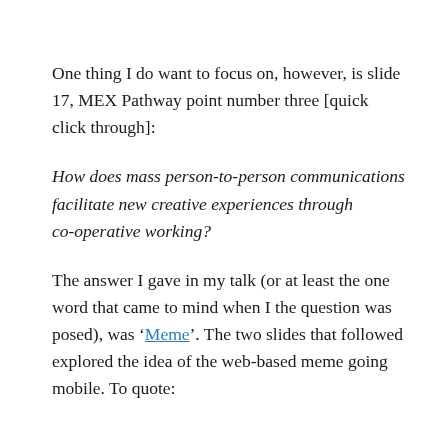One thing I do want to focus on, however, is slide 17, MEX Pathway point number three [quick click through]:
How does mass person-to-person communications facilitate new creative experiences through co-operative working?
The answer I gave in my talk (or at least the one word that came to mind when I the question was posed), was 'Meme'. The two slides that followed explored the idea of the web-based meme going mobile. To quote: